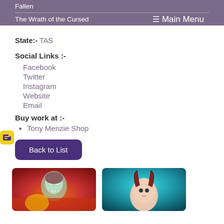Fallen
The Wrath of the Cursed
Main Menu
State:- TAS
Social Links :-
Facebook
Twitter
Instagram
Website
Email
Buy work at :-
Tony Menzie Shop
Back to List
[Figure (illustration): Partial thumbnail of a vampire-like creature with pale skin, red/orange fiery background]
[Figure (illustration): Partial thumbnail of a horned demonic figure against a blue/teal background]